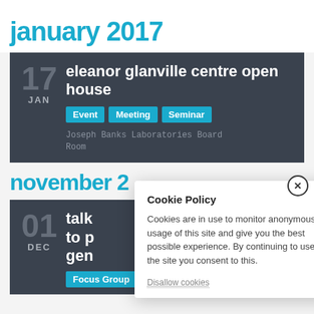january 2017
17 JAN
eleanor glanville centre open house
Event  Meeting  Seminar
Joseph Banks Laboratories Board Room
november 2
01 DEC
talks ... to p... gen...
Focus Group
Cookie Policy
Cookies are in use to monitor anonymous usage of this site and give you the best possible experience. By continuing to use the site you consent to this.
Disallow cookies